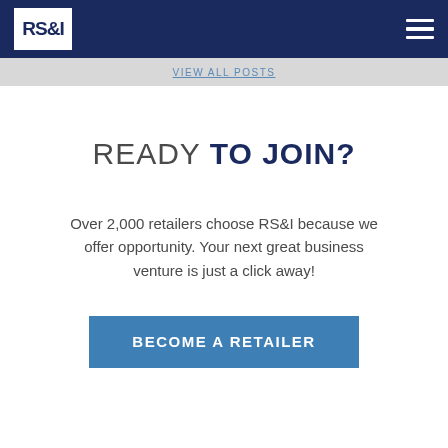RS&I logo and navigation bar
VIEW ALL POSTS
READY TO JOIN?
Over 2,000 retailers choose RS&I because we offer opportunity. Your next great business venture is just a click away!
BECOME A RETAILER